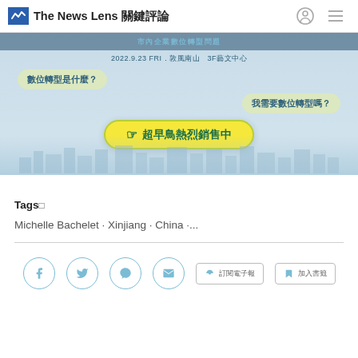The News Lens 關鍵評論
[Figure (photo): Advertisement image for an event on 2022.9.23 FRI. at 敦風南山 3F藝文中心, featuring chat bubbles asking '數位轉型是什麼？' and '我需要數位轉型嗎？', with a yellow CTA button reading '超早鳥熱烈銷售中']
Tags□
Michelle Bachelet · Xinjiang · China ·...
訂閱電子報  加入書籤